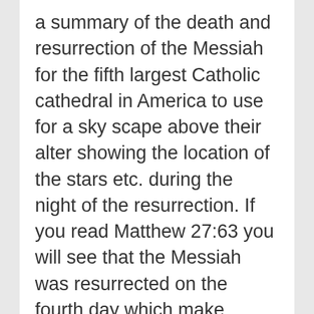a summary of the death and resurrection of the Messiah for the fifth largest Catholic cathedral in America to use for a sky scape above their alter showing the location of the stars etc. during the night of the resurrection. If you read Matthew 27:63 you will see that the Messiah was resurrected on the fourth day which make sense if He spent three days and three nights in the center of the earth using the Hebrew definition of what a day is. You need to put everything into the Hebrew way of life to see these things since it appears that Luke is the only non Hebrew